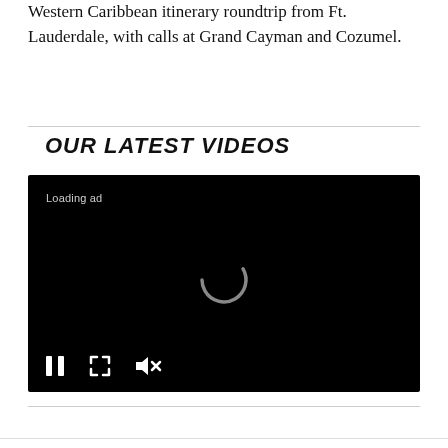Western Caribbean itinerary roundtrip from Ft. Lauderdale, with calls at Grand Cayman and Cozumel.
OUR LATEST VIDEOS
[Figure (screenshot): Video player showing a black screen with 'Loading ad' text in top-left, a spinning loading circle in the center, and playback controls (pause, fullscreen, mute) at the bottom.]